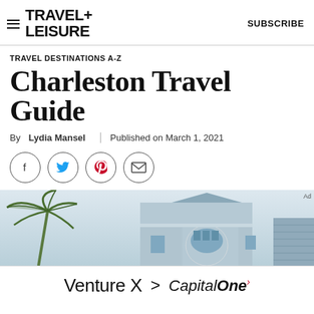TRAVEL+ LEISURE  SUBSCRIBE
TRAVEL DESTINATIONS A-Z
Charleston Travel Guide
By Lydia Mansel | Published on March 1, 2021
[Figure (other): Social sharing buttons: Facebook, Twitter, Pinterest, Email]
[Figure (photo): Photo of a light blue Charleston building with ornate bay window and palm tree in foreground]
[Figure (other): Advertisement banner: Venture X > Capital One]